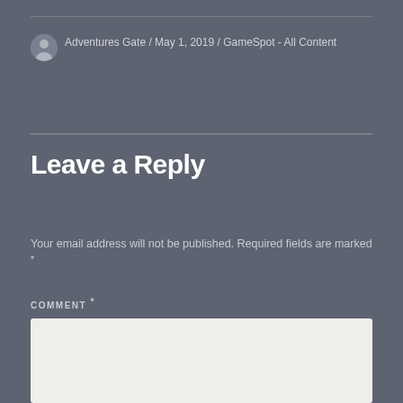Adventures Gate / May 1, 2019 / GameSpot - All Content
Leave a Reply
Your email address will not be published. Required fields are marked *
COMMENT *